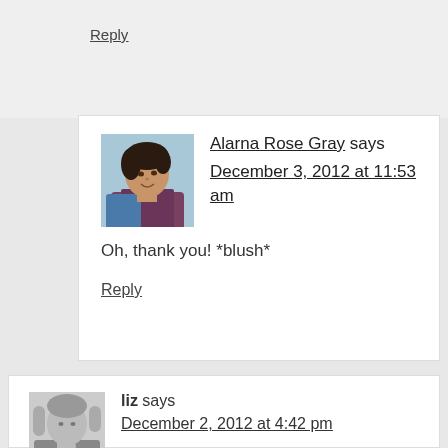Reply
Alarna Rose Gray says December 3, 2012 at 11:53 am
Oh, thank you! *blush*
Reply
[Figure (photo): Profile photo of Alarna Rose Gray, a woman looking to the side with water in background]
liz says
December 2, 2012 at 4:42 pm
[Figure (photo): Black and white profile photo of liz]